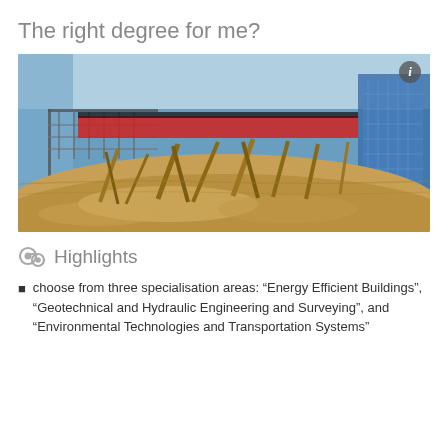The right degree for me?
[Figure (photo): Hydraulic engineering laboratory showing a physical water flow model with wooden stakes, sand, and a red-highlighted structure, viewed from a low angle inside a large indoor flume facility.]
Highlights
choose from three specialisation areas: “Energy Efficient Buildings”, “Geotechnical and Hydraulic Engineering and Surveying”, and “Environmental Technologies and Transportation Systems”